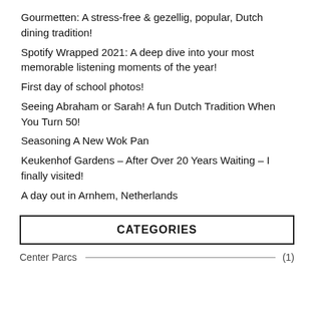Gourmetten: A stress-free & gezellig, popular, Dutch dining tradition!
Spotify Wrapped 2021: A deep dive into your most memorable listening moments of the year!
First day of school photos!
Seeing Abraham or Sarah! A fun Dutch Tradition When You Turn 50!
Seasoning A New Wok Pan
Keukenhof Gardens – After Over 20 Years Waiting – I finally visited!
A day out in Arnhem, Netherlands
CATEGORIES
Center Parcs (1)